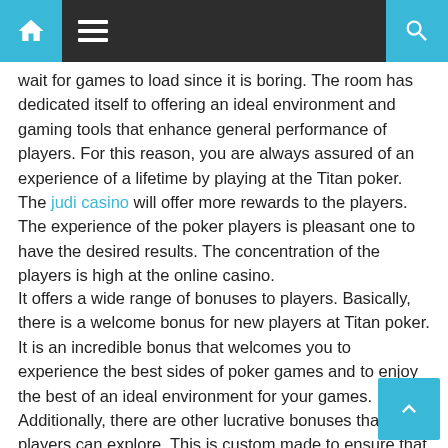Navigation bar with home, menu, and search icons
wait for games to load since it is boring. The room has dedicated itself to offering an ideal environment and gaming tools that enhance general performance of players. For this reason, you are always assured of an experience of a lifetime by playing at the Titan poker. The judi casino will offer more rewards to the players. The experience of the poker players is pleasant one to have the desired results. The concentration of the players is high at the online casino.
It offers a wide range of bonuses to players. Basically, there is a welcome bonus for new players at Titan poker. It is an incredible bonus that welcomes you to experience the best sides of poker games and to enjoy the best of an ideal environment for your games. Additionally, there are other lucrative bonuses that all players can explore. This is custom made to ensure that you cash in money in a fun filled way.